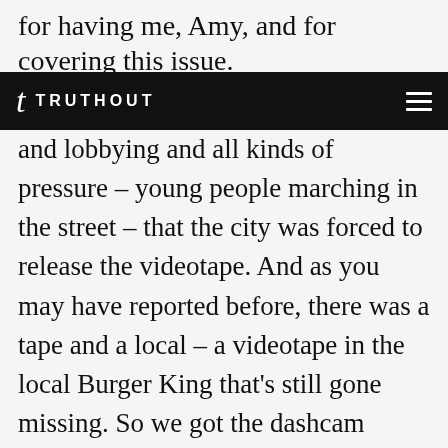for having me, Amy, and for covering this issue.
TRUTHOUT
and lobbying and all kinds of pressure – young people marching in the street – that the city was forced to release the videotape. And as you may have reported before, there was a tape and a local – a videotape in the local Burger King that's still gone missing. So we got the dashcam video. But the time that it has taken for the city to come forward with this is really pretty outrageous, and that's what activists in the city have been saying, that's what led to thousands